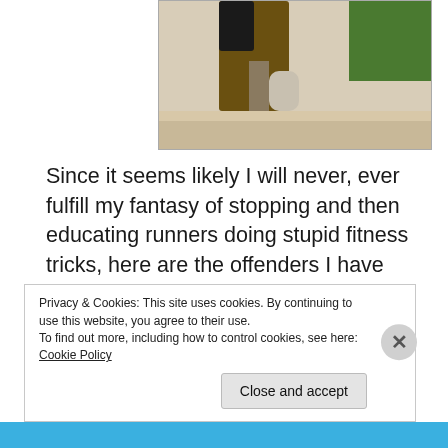[Figure (photo): Partial photo of a runner/person in motion, cropped at top of page, showing legs and lower body on a path with green grass visible]
Since it seems likely I will never, ever fulfill my fantasy of stopping and then educating runners doing stupid fitness tricks, here are the offenders I have seen, yet just allowed to go on their merry frickin' way.......because, really, it's none of my business.......
[Figure (photo): Partial photo showing a person's head/face, dark background, cropped at bottom of visible area]
Privacy & Cookies: This site uses cookies. By continuing to use this website, you agree to their use.
To find out more, including how to control cookies, see here: Cookie Policy
Close and accept